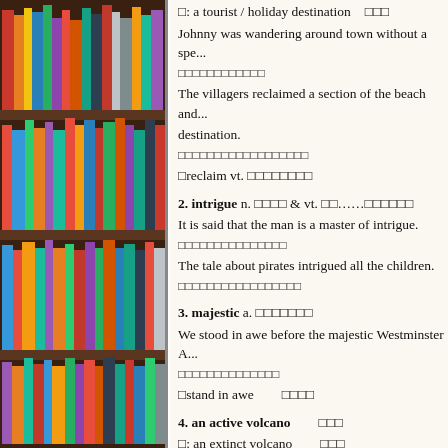[Figure (photo): Photograph of a bookshelf filled with colorful books, positioned on the left side of the page]
□: a tourist / holiday destination　□□□
Johnny was wandering around town without a spe...
□□□□□□□□□□□□
The villagers reclaimed a section of the beach and... destination.
□□□□□□□□□□□□□□□□□□
□reclaim vt. □□□□□□□□
2. intrigue n. □□□□ & vt. □□……□□□□□□
It is said that the man is a master of intrigue.
□□□□□□□□□□□□□□□
The tale about pirates intrigued all the children.
□□□□□□□□□□□□□□□□□
3. majestic a. □□□□□□□
We stood in awe before the majestic Westminster A...
□□□□□□□□□□□□□□
□stand in awe　　□□□□
4. an active volcano　　□□□
□: an extinct volcano　　□□□
a dormant volcano　　□□□